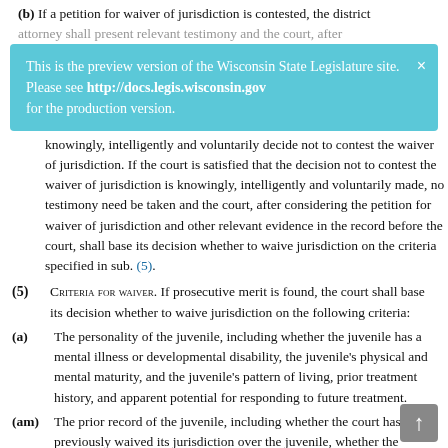(b) If a petition for waiver of jurisdiction is contested, the district attorney shall present relevant testimony and the court, after
This is the preview version of the Wisconsin State Legislature site. Please see http://docs.legis.wisconsin.gov for the production version.
knowingly, intelligently and voluntarily decide not to contest the waiver of jurisdiction. If the court is satisfied that the decision not to contest the waiver of jurisdiction is knowingly, intelligently and voluntarily made, no testimony need be taken and the court, after considering the petition for waiver of jurisdiction and other relevant evidence in the record before the court, shall base its decision whether to waive jurisdiction on the criteria specified in sub. (5).
(5) CRITERIA FOR WAIVER. If prosecutive merit is found, the court shall base its decision whether to waive jurisdiction on the following criteria:
(a) The personality of the juvenile, including whether the juvenile has a mental illness or developmental disability, the juvenile's physical and mental maturity, and the juvenile's pattern of living, prior treatment history, and apparent potential for responding to future treatment.
(am) The prior record of the juvenile, including whether the court has previously waived its jurisdiction over the juvenile, whether the juvenile has been previously